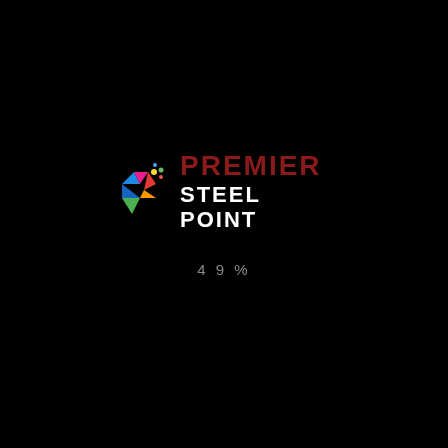[Figure (logo): Premier Steel Point company logo with colorful geometric icon on the left and two-line text on the right: PREMIER in dark red, STEEL POINT in white]
49%